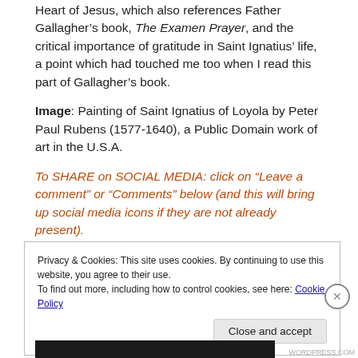Heart of Jesus, which also references Father Gallagher’s book, The Examen Prayer, and the critical importance of gratitude in Saint Ignatius’ life, a point which had touched me too when I read this part of Gallagher’s book.
Image: Painting of Saint Ignatius of Loyola by Peter Paul Rubens (1577-1640), a Public Domain work of art in the U.S.A.
To SHARE on SOCIAL MEDIA: click on “Leave a comment” or “Comments” below (and this will bring up social media icons if they are not already present).
Privacy & Cookies: This site uses cookies. By continuing to use this website, you agree to their use.
To find out more, including how to control cookies, see here: Cookie Policy
Close and accept